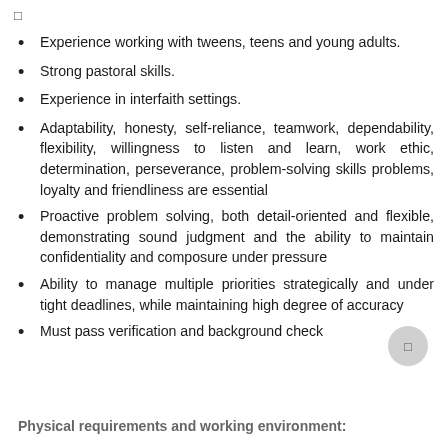[]
Experience working with tweens, teens and young adults.
Strong pastoral skills.
Experience in interfaith settings.
Adaptability, honesty, self-reliance, teamwork, dependability, flexibility, willingness to listen and learn, work ethic, determination, perseverance, problem-solving skills problems, loyalty and friendliness are essential
Proactive problem solving, both detail-oriented and flexible, demonstrating sound judgment and the ability to maintain confidentiality and composure under pressure
Ability to manage multiple priorities strategically and under tight deadlines, while maintaining high degree of accuracy
Must pass verification and background check
Physical requirements and working environment: